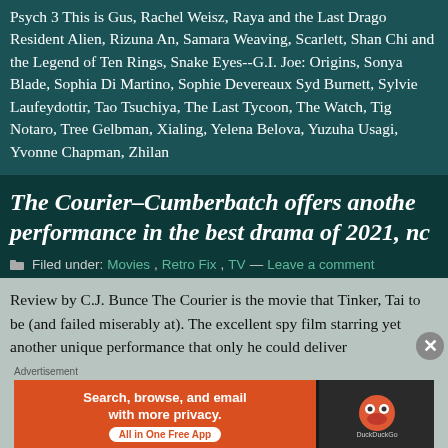Psych 3 This is Gus, Rachel Weisz, Raya and the Last Dragon, Resident Alien, Rizuna An, Samara Weaving, Scarlett, Shang-Chi and the Legend of Ten Rings, Snake Eyes--G.I. Joe: Origins, Sonya Blade, Sophia Di Martino, Sophie Devereaux, Syd Burnett, Sylvie Laufeydottir, Tao Tsuchiya, The Last Tycoon, The Watch, Tig Notaro, Tree Gelbman, Xialing, Yelena Belova, Yuzuha Usagi, Yvonne Chapman, Zhilan
The Courier–Cumberbatch offers another performance in the best drama of 2021, no
Filed under: Movies, Retro Fix, TV — Leave a comment
Review by C.J. Bunce The Courier is the movie that Tinker, Tailor to be (and failed miserably at). The excellent spy film starring yet another unique performance that only he could deliver
[Figure (other): DuckDuckGo advertisement banner: orange left side with text 'Search, browse, and email with more privacy. All in One Free App', dark right side with DuckDuckGo logo]